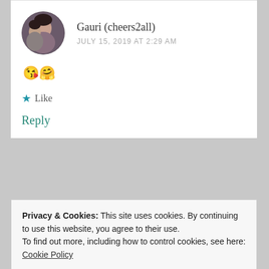[Figure (photo): Circular avatar photo of a couple, man and woman, smiling]
Gauri (cheers2all)
JULY 15, 2019 AT 2:29 AM
😘🤗
★ Like
Reply
Privacy & Cookies: This site uses cookies. By continuing to use this website, you agree to their use.
To find out more, including how to control cookies, see here: Cookie Policy
Close and accept